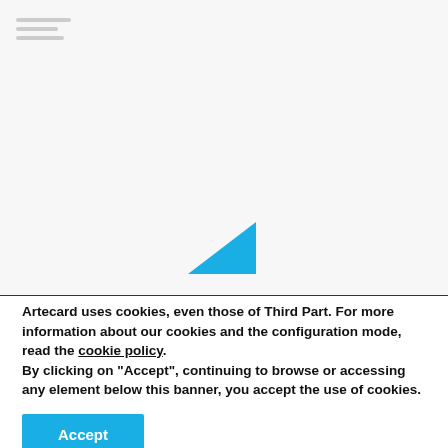[Figure (screenshot): Website header/navigation area with light gray background. Blue triangle/play button shape visible near center-bottom of the area.]
Artecard uses cookies, even those of Third Part. For more information about our cookies and the configuration mode, read the cookie policy. By clicking on "Accept", continuing to browse or accessing any element below this banner, you accept the use of cookies.
Accept